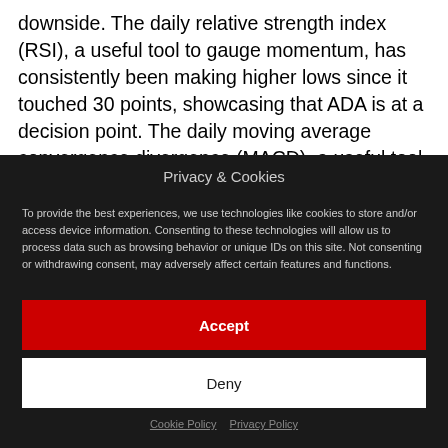downside. The daily relative strength index (RSI), a useful tool to gauge momentum, has consistently been making higher lows since it touched 30 points, showcasing that ADA is at a decision point. The daily moving average convergence divergence (MACD), a useful tool for helping to determine if bullish or
Privacy & Cookies
To provide the best experiences, we use technologies like cookies to store and/or access device information. Consenting to these technologies will allow us to process data such as browsing behavior or unique IDs on this site. Not consenting or withdrawing consent, may adversely affect certain features and functions.
Accept
Deny
Cookie Policy   Privacy Policy